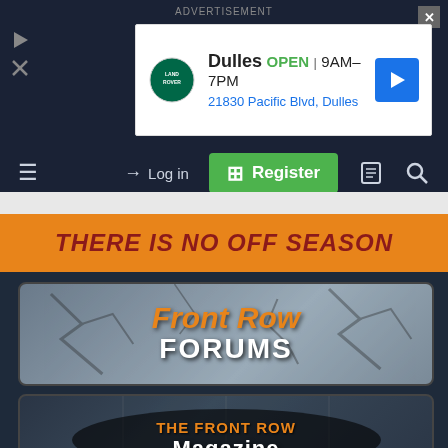ADVERTISEMENT
[Figure (screenshot): Land Rover Dulles advertisement banner: OPEN 9AM-7PM, 21830 Pacific Blvd, Dulles]
[Figure (screenshot): Navigation bar with hamburger menu, Log in, Register button, and search icons]
[Figure (infographic): Orange banner reading THERE IS NO OFF SEASON]
[Figure (infographic): Front Row FORUMS banner with cracked stone texture background]
[Figure (infographic): THE FRONT ROW Magazine banner with dark background and oval logo]